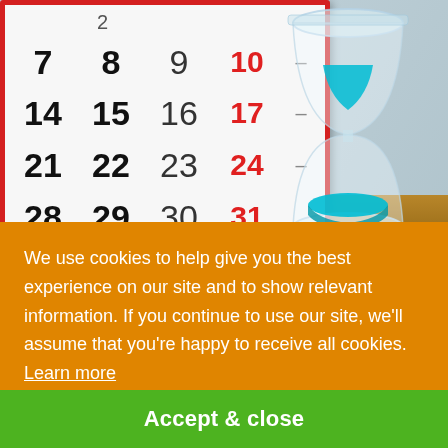[Figure (photo): A desk calendar showing dates 7, 8, 9, 10, 14, 15, 16, 17, 21, 22, 23, 24, 28, 29, 30, 31 with a red border, and an hourglass with blue sand in the background on a wooden surface]
We use cookies to help give you the best experience on our site and to show relevant information. If you continue to use our site, we'll assume that you're happy to receive all cookies.  Learn more
Accept & close